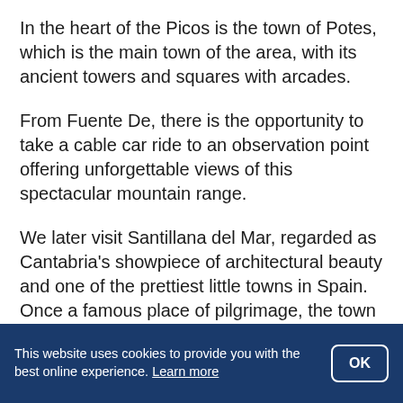In the heart of the Picos is the town of Potes, which is the main town of the area, with its ancient towers and squares with arcades.
From Fuente De, there is the opportunity to take a cable car ride to an observation point offering unforgettable views of this spectacular mountain range.
We later visit Santillana del Mar, regarded as Cantabria's showpiece of architectural beauty and one of the prettiest little towns in Spain. Once a famous place of pilgrimage, the town dates back to the 10th century and, despite its name, it is not situated on the coast. The mansion houses adorned with their coats of arms and the many
This website uses cookies to provide you with the best online experience. Learn more